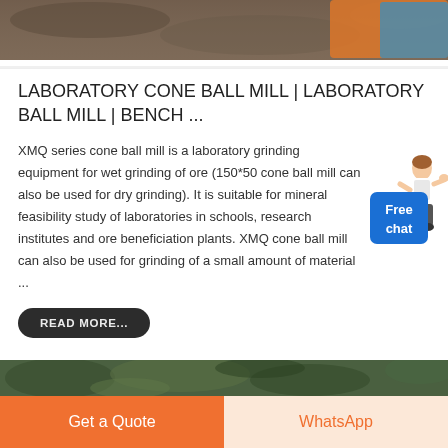[Figure (photo): Top portion of an image showing laboratory ball mill or mining equipment with orange/blue branding visible in corner]
LABORATORY CONE BALL MILL | LABORATORY BALL MILL | BENCH ...
XMQ series cone ball mill is a laboratory grinding equipment for wet grinding of ore (150*50 cone ball mill can also be used for dry grinding). It is suitable for mineral feasibility study of laboratories in schools, research institutes and ore beneficiation plants. XMQ cone ball mill can also be used for grinding of a small amount of material ...
[Figure (illustration): Free chat widget with female character illustration and blue button labeled Free chat]
READ MORE...
[Figure (photo): Bottom portion of another image showing green vegetation/plant material]
Get a Quote
WhatsApp